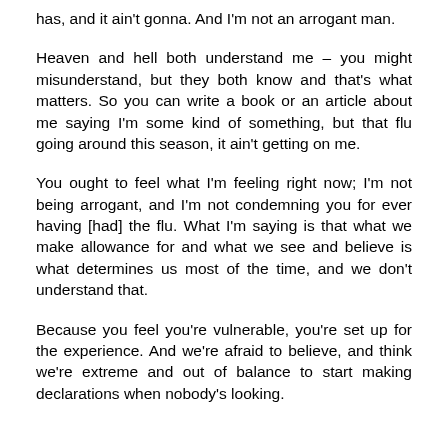has, and it ain't gonna. And I'm not an arrogant man.
Heaven and hell both understand me – you might misunderstand, but they both know and that's what matters. So you can write a book or an article about me saying I'm some kind of something, but that flu going around this season, it ain't getting on me.
You ought to feel what I'm feeling right now; I'm not being arrogant, and I'm not condemning you for ever having [had] the flu. What I'm saying is that what we make allowance for and what we see and believe is what determines us most of the time, and we don't understand that.
Because you feel you're vulnerable, you're set up for the experience. And we're afraid to believe, and think we're extreme and out of balance to start making declarations when nobody's looking.